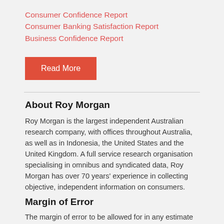Consumer Confidence Report
Consumer Banking Satisfaction Report
Business Confidence Report
Read More
About Roy Morgan
Roy Morgan is the largest independent Australian research company, with offices throughout Australia, as well as in Indonesia, the United States and the United Kingdom. A full service research organisation specialising in omnibus and syndicated data, Roy Morgan has over 70 years' experience in collecting objective, independent information on consumers.
Margin of Error
The margin of error to be allowed for in any estimate depends mainly on the number of interviews on